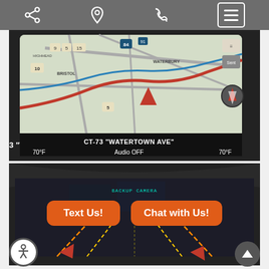[Figure (screenshot): Top navigation bar of a car dealership website showing share icon, location pin icon, phone icon, and hamburger menu button on a gray background]
[Figure (photo): Car infotainment navigation screen showing a map of Connecticut with route highlighted, displaying CT-73 Watertown Ave, temperature 70°F on both sides, and Audio OFF]
[Figure (photo): Car backup camera view showing rear-view image with parking guide lines, overlaid with orange Text Us! and Chat with Us! buttons, accessibility icon bottom-left, and scroll-up arrow bottom-right]